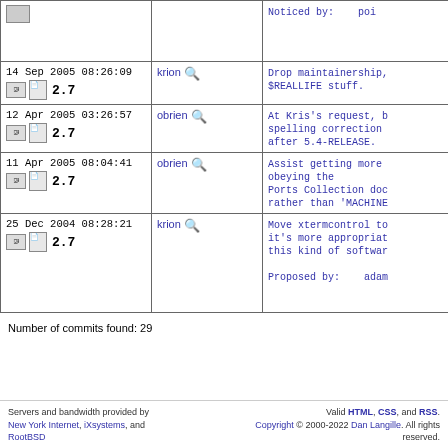| Date/Version | User | Message |
| --- | --- | --- |
|  |  | Noticed by: poi... |
| 14 Sep 2005 08:26:09  2.7 | krion | Drop maintainership, $REALLIFE stuff. |
| 12 Apr 2005 03:26:57  2.7 | obrien | At Kris's request, b... spelling correction... after 5.4-RELEASE. |
| 11 Apr 2005 08:04:41  2.7 | obrien | Assist getting more obeying the Ports Collection doc... rather than 'MACHINE... |
| 25 Dec 2004 08:28:21  2.7 | krion | Move xtermcontrol to... it's more appropriat... this kind of softwar...

Proposed by: adam... |
Number of commits found: 29
Servers and bandwidth provided by New York Internet, iXsystems, and RootBSD | Valid HTML, CSS, and RSS. Copyright © 2000-2022 Dan Langille. All rights reserved.